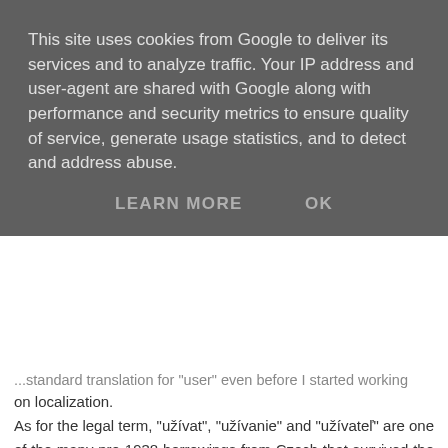This site uses cookies from Google to deliver its services and to analyze traffic. Your IP address and user-agent are shared with Google along with performance and security metrics to ensure quality of service, generate usage statistics, and to detect and address abuse.
LEARN MORE   OK
...standard translation for 'user' even before I started working on localization.
As for the legal term, "užívat", "užívanie" and "užívateľ" are one of the many pre-1938 borrowings from Czech that survived the purification of Slovak. But they only did so because, like many other legal and scientific terms, they acquired new meanings. "Užívat" certainly isn't the same as "používat'", especially not in legalese.
Reply
bulbul 16/3/07 02:37
David,